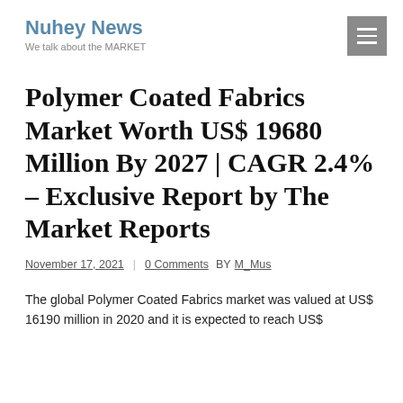Nuhey News
We talk about the MARKET
Polymer Coated Fabrics Market Worth US$ 19680 Million By 2027 | CAGR 2.4% – Exclusive Report by The Market Reports
November 17, 2021  |  0 Comments  BY M_Mus
The global Polymer Coated Fabrics market was valued at US$ 16190 million in 2020 and it is expected to reach US$